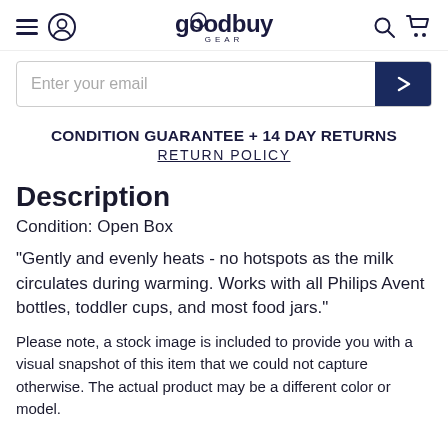goodbuy GEAR
Enter your email
CONDITION GUARANTEE + 14 DAY RETURNS
RETURN POLICY
Description
Condition: Open Box
"Gently and evenly heats - no hotspots as the milk circulates during warming. Works with all Philips Avent bottles, toddler cups, and most food jars."
Please note, a stock image is included to provide you with a visual snapshot of this item that we could not capture otherwise. The actual product may be a different color or model.